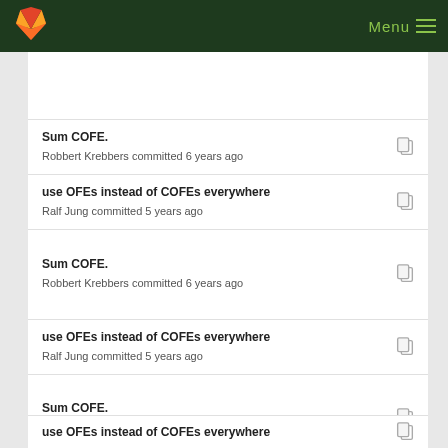GitLab — Menu
Sum COFE.
Robbert Krebbers committed 6 years ago
use OFEs instead of COFEs everywhere
Ralf Jung committed 5 years ago
Sum COFE.
Robbert Krebbers committed 6 years ago
use OFEs instead of COFEs everywhere
Ralf Jung committed 5 years ago
Sum COFE.
Robbert Krebbers committed 6 years ago
use OFEs instead of COFEs everywhere